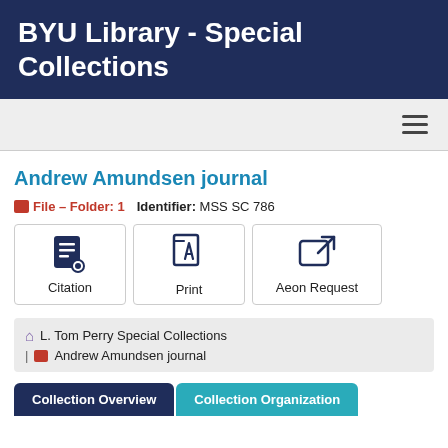BYU Library - Special Collections
Andrew Amundsen journal
File – Folder: 1   Identifier: MSS SC 786
[Figure (screenshot): Three action buttons: Citation (book icon), Print (PDF icon), Aeon Request (external link icon)]
L. Tom Perry Special Collections | Andrew Amundsen journal
Collection Overview   Collection Organization